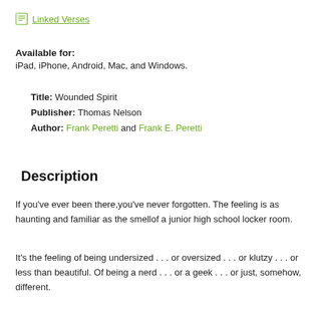Linked Verses
Available for: iPad, iPhone, Android, Mac, and Windows.
Title: Wounded Spirit
Publisher: Thomas Nelson
Author: Frank Peretti and Frank E. Peretti
Description
If you've ever been there,you've never forgotten. The feeling is as haunting and familiar as the smell of a junior high school locker room.
It's the feeling of being undersized . . . or oversized . . . or klutzy . . . or less than beautiful. Of being a nerd . . . or a geek . . . or just, somehow, different.